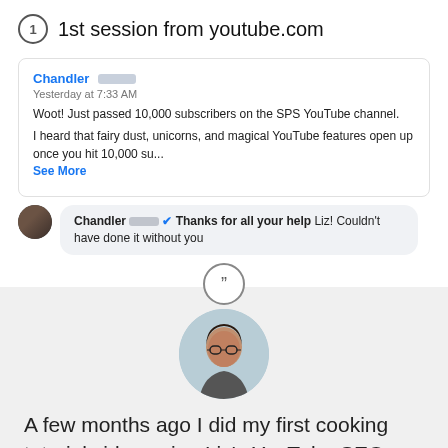1st session from youtube.com
Chandler [redacted]
Yesterday at 7:33 AM
Woot! Just passed 10,000 subscribers on the SPS YouTube channel.
I heard that fairy dust, unicorns, and magical YouTube features open up once you hit 10,000 su...
See More
Chandler [redacted] ✔ Thanks for all your help Liz! Couldn't have done it without you
[Figure (photo): Circular profile photo of a woman with glasses and dark hair]
A few months ago I did my first cooking tutorial video using Liz's YouTube SEO strategies.